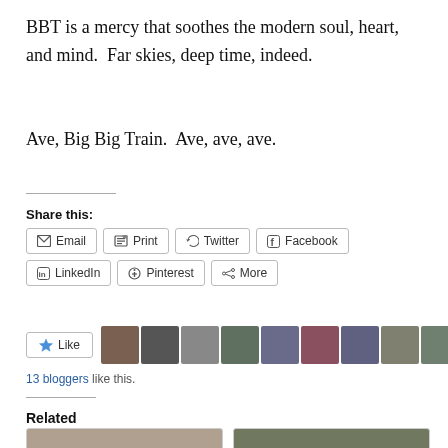BBT is a mercy that soothes the modern soul, heart, and mind.  Far skies, deep time, indeed.
Ave, Big Big Train.  Ave, ave, ave.
Share this:
Email | Print | Twitter | Facebook | LinkedIn | Pinterest | More
Like
13 bloggers like this.
Related
[Figure (photo): Related article thumbnail 1]
[Figure (photo): Related article thumbnail 2]